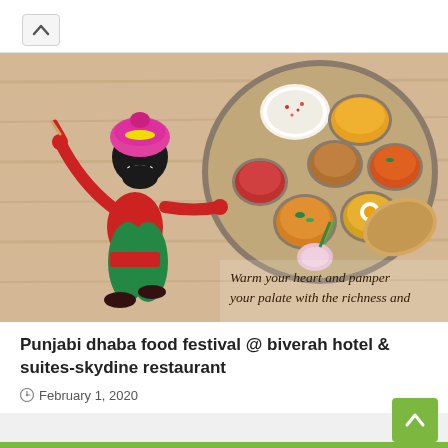[Figure (illustration): Punjabi dhaba food festival promotional image: animated Punjabi dancer character in traditional costume on a wooden background, with a large thali plate of Indian food items, and text 'Warm your heart and pamper your palate with the richness and...']
Punjabi dhaba food festival @ biverah hotel & suites-skydine restaurant
February 1, 2020